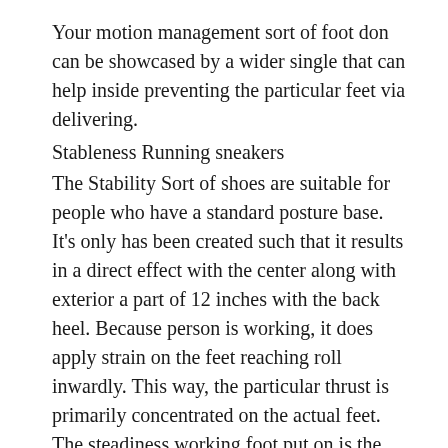Your motion management sort of foot don can be showcased by a wider single that can help inside preventing the particular feet via delivering.
Stableness Running sneakers
The Stability Sort of shoes are suitable for people who have a standard posture base. It's only has been created such that it results in a direct effect with the center along with exterior a part of 12 inches with the back heel. Because person is working, it does apply strain on the feet reaching roll inwardly. This way, the particular thrust is primarily concentrated on the actual feet. The steadiness working foot put on is the most suitable within maximizing the